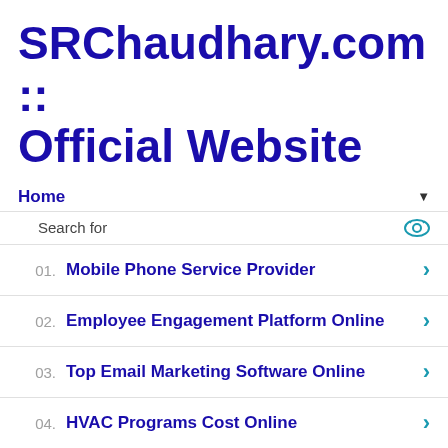SRChaudhary.com :: Official Website
Home
Search for
01. Mobile Phone Service Provider
02. Employee Engagement Platform Online
03. Top Email Marketing Software Online
04. HVAC Programs Cost Online
05. Information Eosinophilic Asthma Trigger
Yahoo! Search | Sponsored